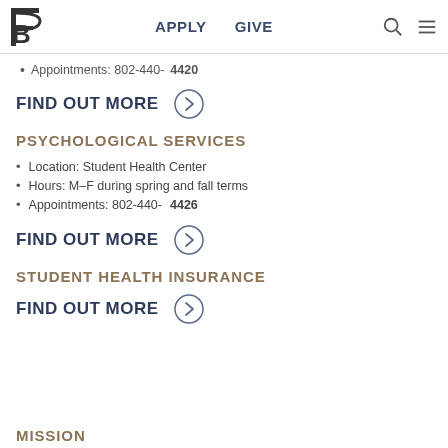B | APPLY  GIVE
Appointments: 802-440-4420
FIND OUT MORE →
PSYCHOLOGICAL SERVICES
Location: Student Health Center
Hours: M–F during spring and fall terms
Appointments: 802-440-4426
FIND OUT MORE →
STUDENT HEALTH INSURANCE
FIND OUT MORE →
MISSION